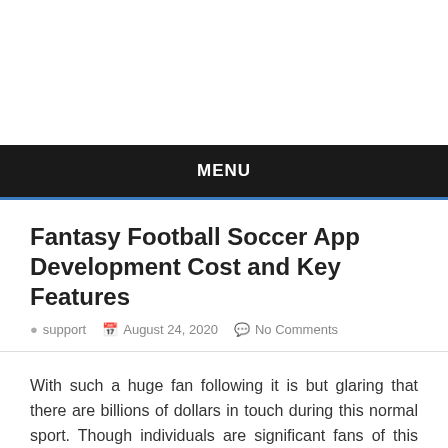MENU
Fantasy Football Soccer App Development Cost and Key Features
support   August 24, 2020   No Comments
With such a huge fan following it is but glaring that there are billions of dollars in touch during this normal sport. Though individuals are significant fans of this sport, it's a proven fact that not all can